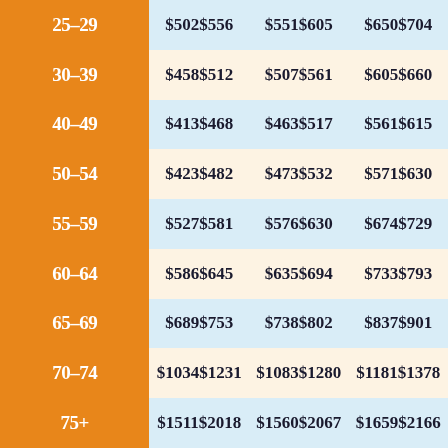| Age | Col1a | Col1b | Col2a | Col2b | Col3a | Col3b |
| --- | --- | --- | --- | --- | --- | --- |
| 25-29 | $502 | $556 | $551 | $605 | $650 | $704 |
| 30-39 | $458 | $512 | $507 | $561 | $605 | $660 |
| 40-49 | $413 | $468 | $463 | $517 | $561 | $615 |
| 50-54 | $423 | $482 | $473 | $532 | $571 | $630 |
| 55-59 | $527 | $581 | $576 | $630 | $674 | $729 |
| 60-64 | $586 | $645 | $635 | $694 | $733 | $793 |
| 65-69 | $689 | $753 | $738 | $802 | $837 | $901 |
| 70-74 | $1034 | $1231 | $1083 | $1280 | $1181 | $1378 |
| 75+ | $1511 | $2018 | $1560 | $2067 | $1659 | $2166 |